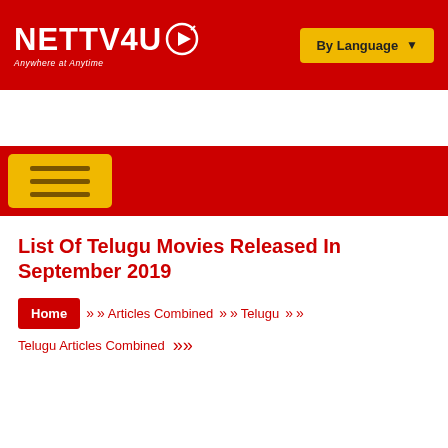NETTV4U — Anywhere at Anytime | By Language
[Figure (logo): NETTV4U logo with circular icon and tagline 'Anywhere at Anytime' on red background]
List Of Telugu Movies Released In September 2019
Home » Articles Combined » Telugu » Telugu Articles Combined »